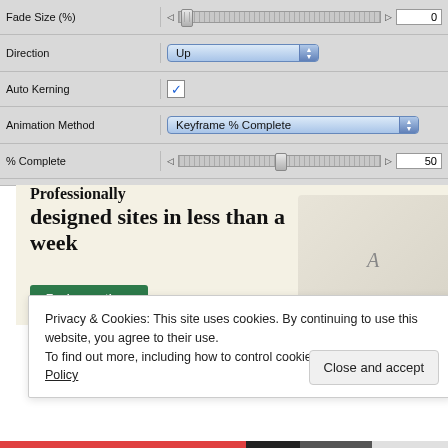[Figure (screenshot): Software settings panel showing Fade Size, Direction, Auto Kerning, Animation Method, % Complete, and Speed controls]
[Figure (screenshot): Advertisement banner: 'Professionally designed sites in less than a week' with Explore options button and website mockup images]
Privacy & Cookies: This site uses cookies. By continuing to use this website, you agree to their use.
To find out more, including how to control cookies, see here: Cookie Policy
Close and accept